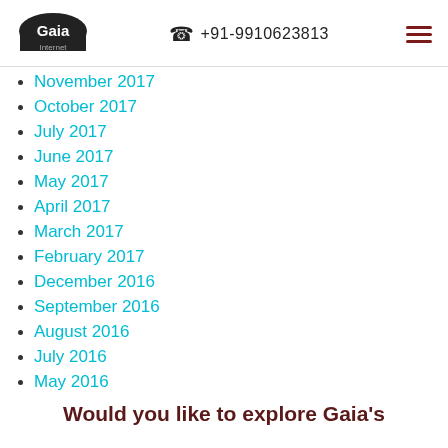Gaia Internet | +91-9910623813
November 2017
October 2017
July 2017
June 2017
May 2017
April 2017
March 2017
February 2017
December 2016
September 2016
August 2016
July 2016
May 2016
Would you like to explore Gaia's